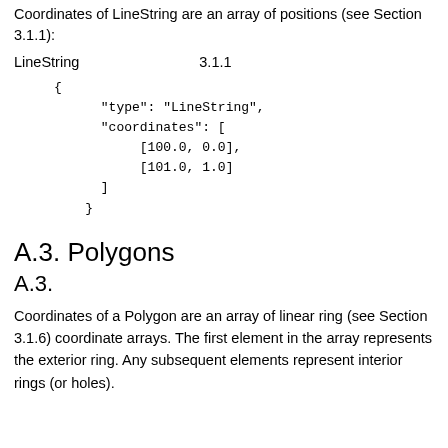Coordinates of LineString are an array of positions (see Section 3.1.1):
LineString　　　　　　　　　　　3.1.1
{
  "type": "LineString",
  "coordinates": [
    [100.0, 0.0],
    [101.0, 1.0]
  ]
}
A.3. Polygons
A.3. 多角形
Coordinates of a Polygon are an array of linear ring (see Section 3.1.6) coordinate arrays. The first element in the array represents the exterior ring. Any subsequent elements represent interior rings (or holes).